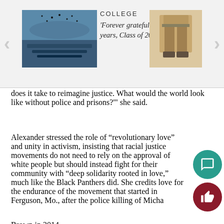COLLEGE | 'Forever grateful': After two years, Class of 2020 celebrates
does it take to reimagine justice. What would the world look like without police and prisons?'” she said.
Alexander stressed the role of “revolutionary love” and unity in activism, insisting that racial justice movements do not need to rely on the approval of white people but should instead fight for their community with “deep solidarity rooted in love,” much like the Black Panthers did. She credits love for the endurance of the movement that started in Ferguson, Mo., after the police killing of Michael Brown in 2014.
In addition to love, Alexander emphasized that